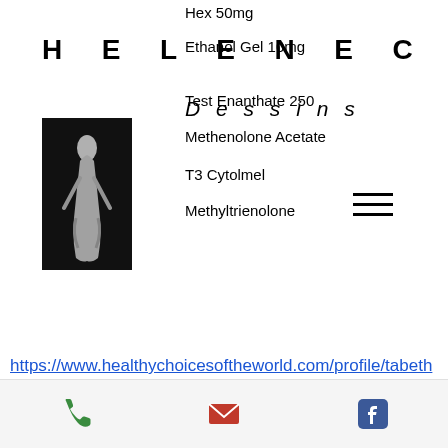HELENECA
Dessins
Hex 50mg
Ethanol Gel 10mg
Test Enanthate 250
Methenolone Acetate
T3 Cytolmel
Methyltrienolone
[Figure (logo): Black square with white distressed figure/statue illustration]
https://www.healthychoicesoftheworld.com/profile/tabethadorey1108833/profile https://www.sg-condolaunch.com/profile/davidliebherr134627 0/profile https://www.team-uplift.com/profile/tysonzawasky1205088/profile https://www.belachurch.com/profile/elinapoteet1507814/profile